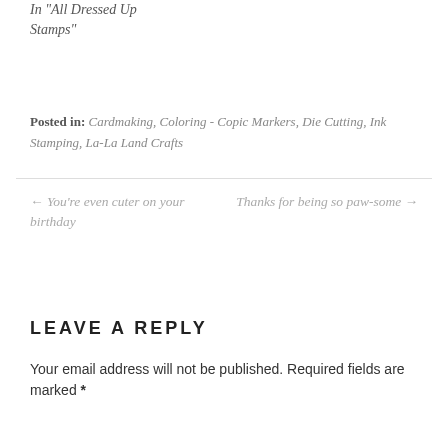In "All Dressed Up Stamps"
Posted in: Cardmaking, Coloring - Copic Markers, Die Cutting, Ink Stamping, La-La Land Crafts
← You're even cuter on your birthday
Thanks for being so paw-some →
LEAVE A REPLY
Your email address will not be published. Required fields are marked *